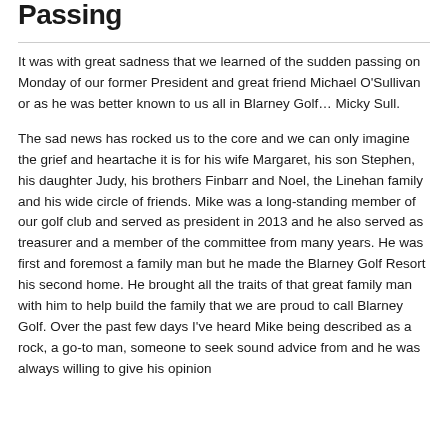Passing
It was with great sadness that we learned of the sudden passing on Monday of our former President and great friend Michael O'Sullivan or as he was better known to us all in Blarney Golf… Micky Sull.
The sad news has rocked us to the core and we can only imagine the grief and heartache it is for his wife Margaret, his son Stephen, his daughter Judy, his brothers Finbarr and Noel, the Linehan family and his wide circle of friends. Mike was a long-standing member of our golf club and served as president in 2013 and he also served as treasurer and a member of the committee from many years. He was first and foremost a family man but he made the Blarney Golf Resort his second home. He brought all the traits of that great family man with him to help build the family that we are proud to call Blarney Golf. Over the past few days I've heard Mike being described as a rock, a go-to man, someone to seek sound advice from and he was always willing to give his opinion